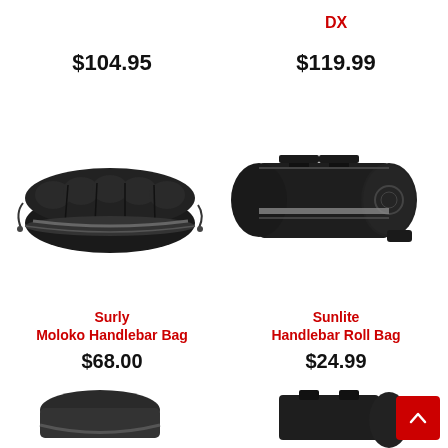$104.95
DX
$119.99
[Figure (photo): Surly Moloko Handlebar Bag - black fabric bag with straps]
[Figure (photo): Sunlite Handlebar Roll Bag - black cylindrical bag with reflective stripe]
Surly
Moloko Handlebar Bag
$68.00
Sunlite
Handlebar Roll Bag
$24.99
[Figure (photo): Partial view of another handlebar bag at bottom left]
[Figure (photo): Partial view of another bag at bottom right]